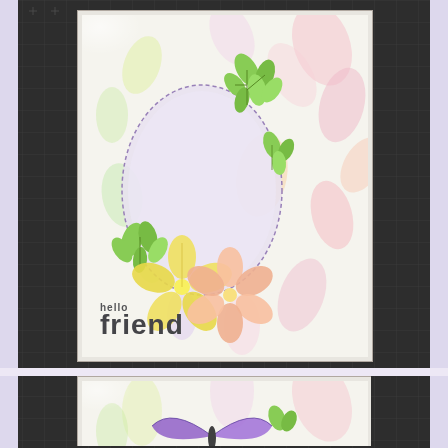[Figure (photo): Top handmade greeting card on dark grid cutting mat. Card has pastel floral/teardrop patterned background paper in soft pinks, greens, yellows. Center features a large stitched oval die-cut in light purple/lavender. Decorative green leaves cluster at upper right and lower left of oval. Two plumeria/frangipani flowers (yellow and peach/pink) sit at lower left overlapping the oval. Text reads 'hello friend' in bold dark grey stamped letters at the bottom of the card.]
[Figure (photo): Bottom handmade greeting card partially visible. Similar pastel floral/teardrop patterned background. Features a purple butterfly die-cut at center with green leaf clusters visible. Card sits on dark grid cutting mat against lavender/lilac background.]